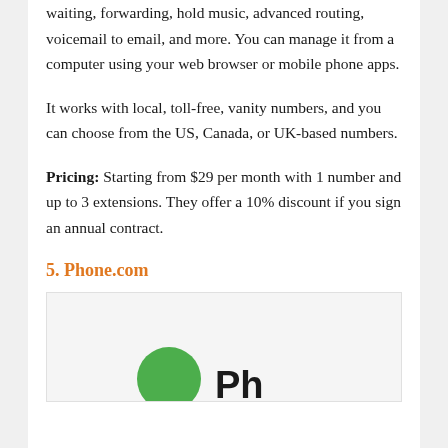waiting, forwarding, hold music, advanced routing, voicemail to email, and more. You can manage it from a computer using your web browser or mobile phone apps.
It works with local, toll-free, vanity numbers, and you can choose from the US, Canada, or UK-based numbers.
Pricing: Starting from $29 per month with 1 number and up to 3 extensions. They offer a 10% discount if you sign an annual contract.
5. Phone.com
[Figure (logo): Phone.com logo with green circle icon and 'Ph' text visible at bottom of image box]